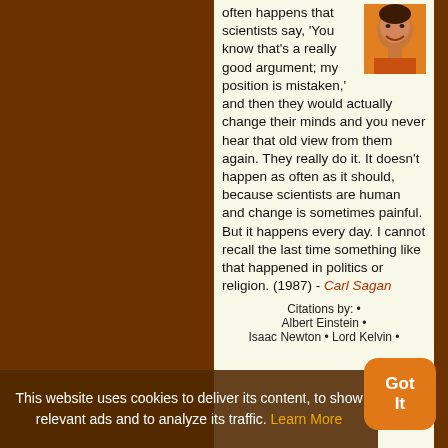often happens that scientists say, 'You know that's a really good argument; my position is mistaken,' and then they would actually change their minds and you never hear that old view from them again. They really do it. It doesn't happen as often as it should, because scientists are human and change is sometimes painful. But it happens every day. I cannot recall the last time something like that happened in politics or religion. (1987) - Carl Sagan
This website uses cookies to deliver its content, to show relevant ads and to analyze its traffic. Learn More
Citations by: • Albert Einstein • Isaac Newton • Lord Kelvin •